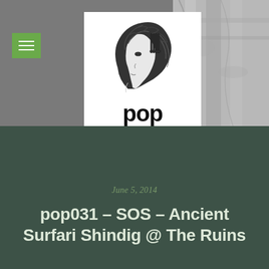[Figure (illustration): Website header image showing a black and white illustration of a woman's head in profile with a fork in her hair, above the word 'pop' in bold black text, on a white background. Flanking the central logo box are grey photographic backgrounds — left side showing grey texture, right side showing architectural column detail.]
June 5, 2014
pop031 – SOS – Ancient Surfari Shindig @ The Ruins